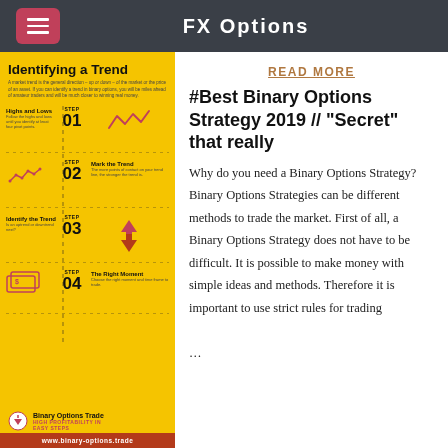FX Options
[Figure (infographic): Infographic titled 'Identifying a Trend' on yellow background. Shows 4 steps: Step 01 Highs and Lows, Step 02 Mark the Trend, Step 03 Identify the Trend, Step 04 The Right Moment. Contains icons of waveform, line chart, up/down arrows, and money. Bottom shows Binary Options Trade logo, HIGH PROFITABILITY IN EASY STEPS tagline, and www.binary-options.trade URL.]
READ MORE
#Best Binary Options Strategy 2019 // "Secret" that really
Why do you need a Binary Options Strategy? Binary Options Strategies can be different methods to trade the market. First of all, a Binary Options Strategy does not have to be difficult. It is possible to make money with simple ideas and methods. Therefore it is important to use strict rules for trading ...